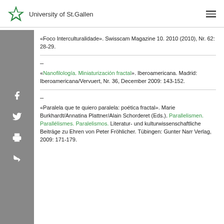University of St.Gallen
«Foco Interculturalidade». Swisscam Magazine 10. 2010 (2010), Nr. 62: 28-29.
–
«Nanofilología. Miniaturización fractal». Iberoamericana. Madrid: Iberoamericana/Vervuert, Nr. 36, December 2009: 143-152.
–
«Paralela que te quiero paralela: poética fractal». Marie Burkhardt/Annatina Plattner/Alain Schorderet (Eds.). Parallelismen. Parallélismes. Paralelismos. Literatur- und kulturwissenschaftliche Beiträge zu Ehren von Peter Fröhlicher. Tübingen: Gunter Narr Verlag, 2009: 171-179.